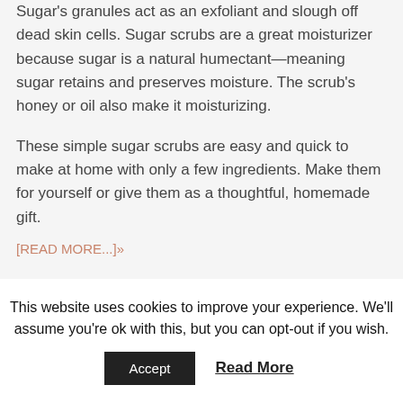Sugar's granules act as an exfoliant and slough off dead skin cells. Sugar scrubs are a great moisturizer because sugar is a natural humectant—meaning sugar retains and preserves moisture. The scrub's honey or oil also make it moisturizing.
These simple sugar scrubs are easy and quick to make at home with only a few ingredients. Make them for yourself or give them as a thoughtful, homemade gift.
[READ MORE...]»
This website uses cookies to improve your experience. We'll assume you're ok with this, but you can opt-out if you wish.
Accept
Read More